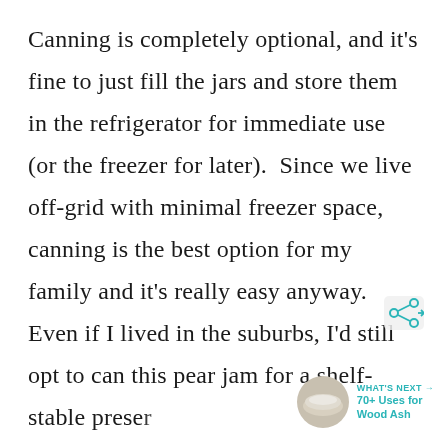Canning is completely optional, and it's fine to just fill the jars and store them in the refrigerator for immediate use (or the freezer for later).  Since we live off-grid with minimal freezer space, canning is the best option for my family and it's really easy anyway.  Even if I lived in the suburbs, I'd still opt to can this pear jam for a shelf-stable preserve or for an easy holiday gift.
[Figure (infographic): Share icon (social share button) and a 'What's Next' promotional widget showing a circular thumbnail image and text '70+ Uses for Wood Ash']